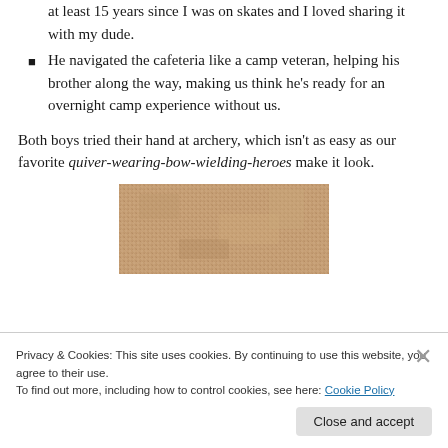at least 15 years since I was on skates and I loved sharing it with my dude.
He navigated the cafeteria like a camp veteran, helping his brother along the way, making us think he's ready for an overnight camp experience without us.
Both boys tried their hand at archery, which isn't as easy as our favorite quiver-wearing-bow-wielding-heroes make it look.
[Figure (photo): A close-up photo of an archery target or straw/woven textured surface, sandy/beige tones.]
Privacy & Cookies: This site uses cookies. By continuing to use this website, you agree to their use. To find out more, including how to control cookies, see here: Cookie Policy